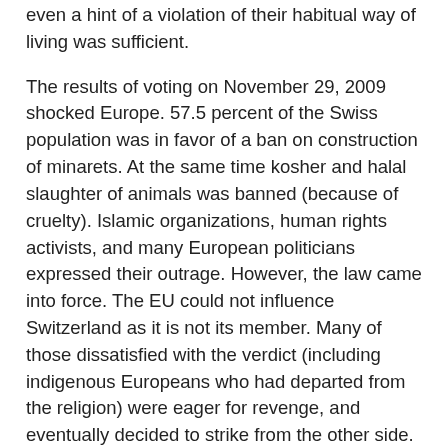even a hint of a violation of their habitual way of living was sufficient.
The results of voting on November 29, 2009 shocked Europe. 57.5 percent of the Swiss population was in favor of a ban on construction of minarets. At the same time kosher and halal slaughter of animals was banned (because of cruelty). Islamic organizations, human rights activists, and many European politicians expressed their outrage. However, the law came into force. The EU could not influence Switzerland as it is not its member. Many of those dissatisfied with the verdict (including indigenous Europeans who had departed from the religion) were eager for revenge, and eventually decided to strike from the other side. They inquired why the flag of the Swiss Confederation had a Christian cross on it if construction of minarets was banned. Allegedly, it violated the rights of not only Muslims but also non-believers. That is why the red-green-yellow flag of the Helvetic Republic would be better.
Would the majority of the Swiss agree with this point of view?Unlike neighboring France and Germany, the Swiss